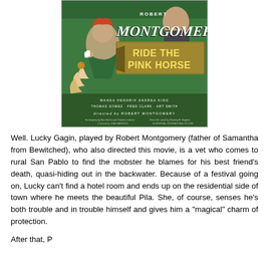[Figure (photo): Movie poster for 'Ride the Pink Horse' featuring Robert Montgomery. Green background with illustrated figures of a woman in a green dress and a man. Large stylized text reads 'ROBERT MONTGOMERY' and 'RIDE THE PINK HORSE'. Credits at bottom include Wanda Hendrix, Andrea King, Thomas Gomez, Fred Clark, Art Smith, directed by Robert Montgomery.]
Well. Lucky Gagin, played by Robert Montgomery (father of Samantha from Bewitched), who also directed this movie, is a vet who comes to rural San Pablo to find the mobster he blames for his best friend's death, quasi-hiding out in the backwater. Because of a festival going on, Lucky can't find a hotel room and ends up on the residential side of town where he meets the beautiful Pila. She, of course, senses he's both trouble and in trouble himself and gives him a "magical" charm of protection.
After that, Pottsy scene and...